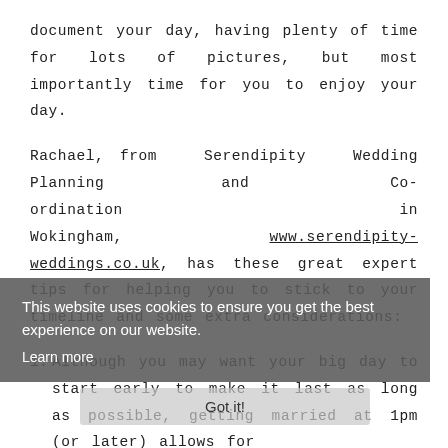document your day, having plenty of time for lots of pictures, but most importantly time for you to enjoy your day.
Rachael, from Serendipity Wedding Planning and Co-ordination in Wokingham, www.serendipity-weddings.co.uk, has these great expert tips for helping you to stick to your timeline and some extra considerations:
1. Although you may want your big day to start early to make it last as long as possible, getting married at 1pm (or later) allows for
This website uses cookies to ensure you get the best experience on our website. Learn more
Got it!